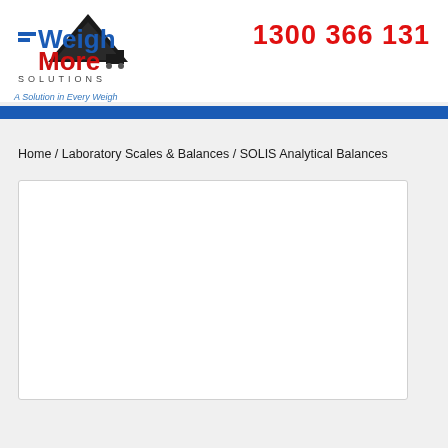[Figure (logo): WeighMore Solutions logo - triangle shape with truck, blue and red text reading Weigh More Solutions]
1300 366 131
A Solution in Every Weigh
Home / Laboratory Scales & Balances / SOLIS Analytical Balances
[Figure (other): White content/product box area (empty)]